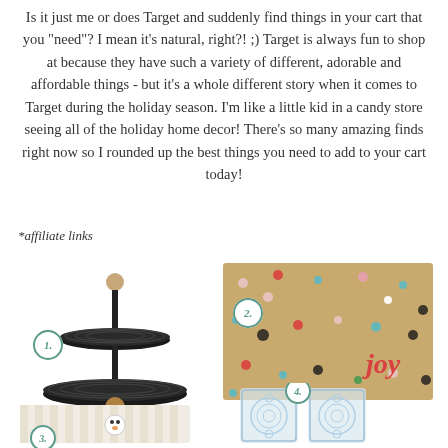Is it just me or does Target and suddenly find things in your cart that you "need"? I mean it's natural, right?! ;) Target is always fun to shop at because they have such a variety of different, adorable and affordable things - but it's a whole different story when it comes to Target during the holiday season. I'm like a little kid in a candy store seeing all of the holiday home decor! There's so many amazing finds right now so I rounded up the best things you need to add to your cart today!
*affiliate links
[Figure (photo): Item 1: Black two-tiered metal serving tray/stand with wooden ball accents]
[Figure (photo): Item 2: Coir doormat with colorful polka dots and the word 'joy' in red script]
[Figure (photo): Item 3: Folded striped blanket with snowman design peeking out]
[Figure (photo): Item 4: Two clear glass tumblers with decorative circular pattern]